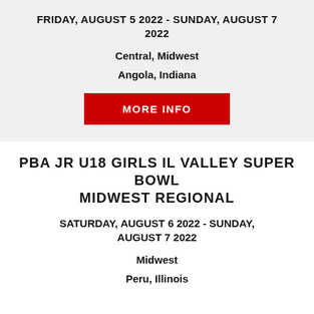FRIDAY, AUGUST 5 2022 - SUNDAY, AUGUST 7 2022
Central, Midwest
Angola, Indiana
MORE INFO
PBA JR U18 GIRLS IL VALLEY SUPER BOWL MIDWEST REGIONAL
SATURDAY, AUGUST 6 2022 - SUNDAY, AUGUST 7 2022
Midwest
Peru, Illinois